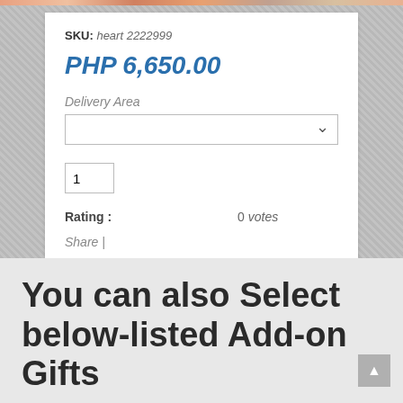SKU: heart 2222999
PHP 6,650.00
Delivery Area
1
Rating : 0 votes
Share |
You can also Select below-listed Add-on Gifts